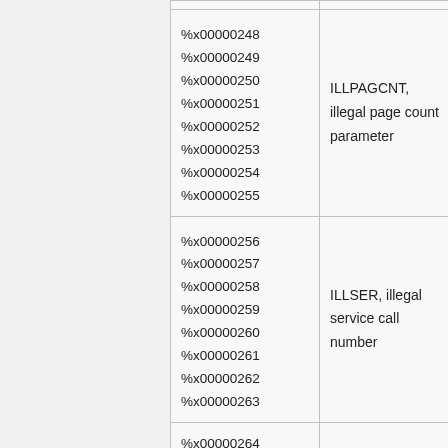| Code Range | Description |
| --- | --- |
| %x00000248
%x00000249
%x00000250
%x00000251
%x00000252
%x00000253
%x00000254
%x00000255 | ILLPAGCNT, illegal page count parameter |
| %x00000256
%x00000257
%x00000258
%x00000259
%x00000260
%x00000261
%x00000262
%x00000263 | ILLSER, illegal service call number |
| %x00000264 |  |